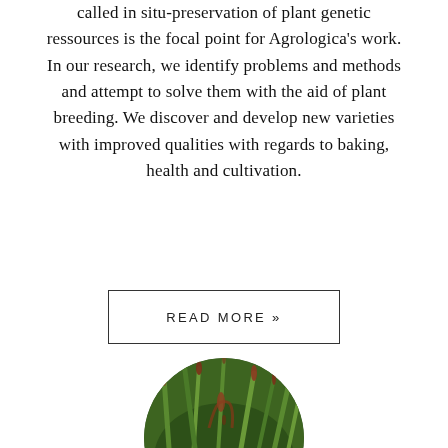called in situ-preservation of plant genetic ressources is the focal point for Agrologica's work. In our research, we identify problems and methods and attempt to solve them with the aid of plant breeding. We discover and develop new varieties with improved qualities with regards to baking, health and cultivation.
READ MORE »
[Figure (photo): Circular cropped photograph of green grass or grain plants with reddish-brown seed heads or flowering structures visible among the blades]